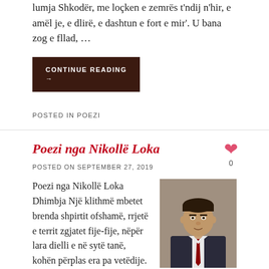lumja Shkodër, me loçken e zemrës t'ndij n'hir, e amël je, e dlirë, e dashtun e fort e mir'. U bana zog e fllad, …
CONTINUE READING →
POSTED IN POEZI
Poezi nga Nikollë Loka
POSTED ON SEPTEMBER 27, 2019
0
Poezi nga Nikollë Loka   Dhimbja Një klithmë mbetet brenda shpirtit ofshamë, rrjetë e territ zgjatet fije-fije, nëpër lara dielli e në sytë tanë, kohën përplas era pa vetëdije. Në brigjet e largëta një dritë shuhet e ndizet, koha shëron
[Figure (photo): Portrait photo of a middle-aged man in a suit and tie]